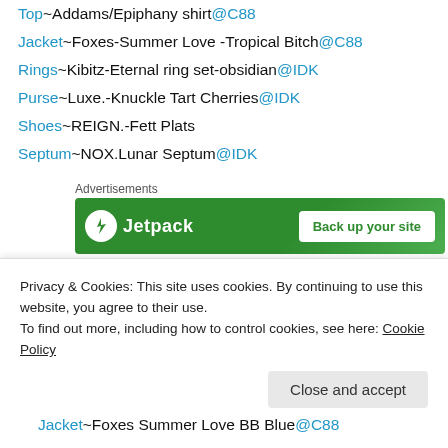Top~Addams/Epiphany shirt@C88
Jacket~Foxes-Summer Love -Tropical Bitch@C88
Rings~Kibitz-Eternal ring set-obsidian@IDK
Purse~Luxe.-Knuckle Tart Cherries@IDK
Shoes~REIGN.-Fett Plats
Septum~NOX.Lunar Septum@IDK
[Figure (other): Jetpack advertisement banner with green background, bolt icon, text 'Jetpack' and white button 'Back up your site']
-Ayas Clothes(baby blue)-
Hair~Truth Hair Bands
Privacy & Cookies: This site uses cookies. By continuing to use this website, you agree to their use.
To find out more, including how to control cookies, see here: Cookie Policy
Jacket~Foxes Summer Love BB Blue@C88